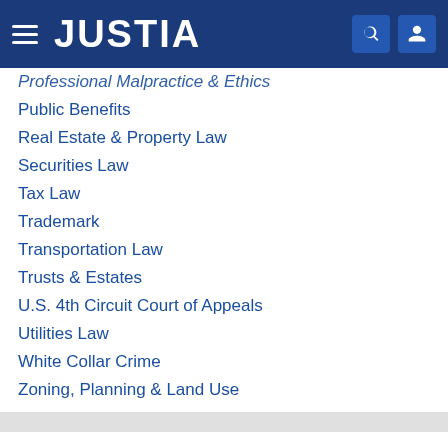JUSTIA
Professional Malpractice & Ethics
Public Benefits
Real Estate & Property Law
Securities Law
Tax Law
Trademark
Transportation Law
Trusts & Estates
U.S. 4th Circuit Court of Appeals
Utilities Law
White Collar Crime
Zoning, Planning & Land Use
Justia Legal Resources
Find A Lawyer